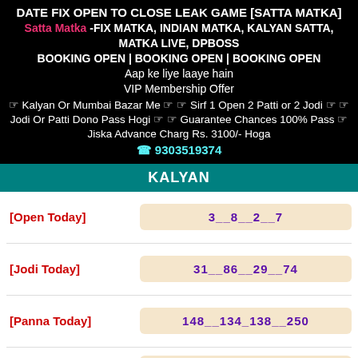DATE FIX OPEN TO CLOSE LEAK GAME [SATTA MATKA]
Satta Matka -FIX MATKA, INDIAN MATKA, KALYAN SATTA, MATKA LIVE, DPBOSS
BOOKING OPEN | BOOKING OPEN | BOOKING OPEN
Aap ke liye laaye hain
VIP Membership Offer
☞ Kalyan Or Mumbai Bazar Me ☞ ☞ Sirf 1 Open 2 Patti or 2 Jodi ☞ ☞ Jodi Or Patti Dono Pass Hogi ☞ ☞ Guarantee Chances 100% Pass ☞ Jiska Advance Charg Rs. 3100/- Hoga
☎ 9303519374
KALYAN
| Label | Value |
| --- | --- |
| [Open Today] | 3__8__2__7 |
| [Jodi Today] | 31__86__29__74 |
| [Panna Today] | 148__134_138__250 |
| [PASS] :- | 7 open pass:-........... 74 jodi running.............. Final Ank pass.......... |